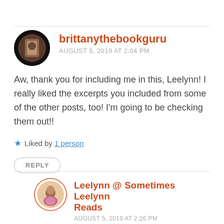brittanythebookguru
AUGUST 5, 2019 AT 2:04 PM
Aw, thank you for including me in this, Leelynn! I really liked the excerpts you included from some of the other posts, too! I'm going to be checking them out!!
★ Liked by 1 person
REPLY
Leelynn @ Sometimes Leelynn Reads
AUGUST 5, 2019 AT 2:26 PM